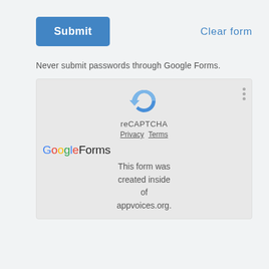Submit
Clear form
Never submit passwords through Google Forms.
[Figure (other): reCAPTCHA widget with arrow icon, label 'reCAPTCHA', and Privacy/Terms links, with three vertical dots menu on right. Below shows Google Forms branding and text 'This form was created inside of appvoices.org.']